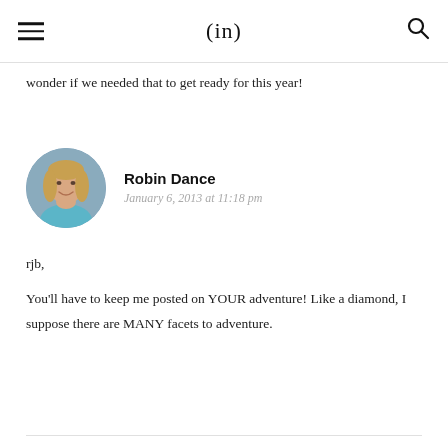(in)
wonder if we needed that to get ready for this year!
[Figure (photo): Round profile photo of Robin Dance, a woman with blonde hair wearing a light blue top]
Robin Dance
January 6, 2013 at 11:18 pm
rjb,

You'll have to keep me posted on YOUR adventure! Like a diamond, I suppose there are MANY facets to adventure.